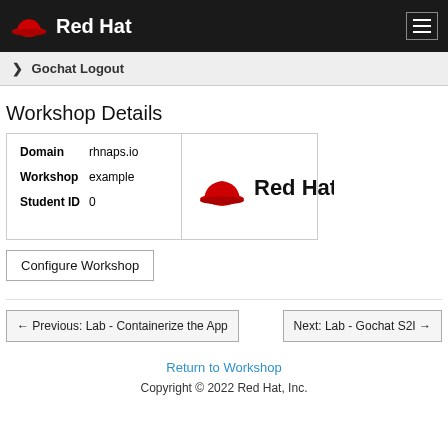Red Hat
> Gochat Logout
Workshop Details
| Field | Value |
| --- | --- |
| Domain | rhnaps.io |
| Workshop | example |
| Student ID | 0 |
[Figure (logo): Red Hat logo with hat icon and 'Red Hat' text]
Configure Workshop
← Previous: Lab - Containerize the App
Next: Lab - Gochat S2I →
Return to Workshop
Copyright © 2022 Red Hat, Inc.